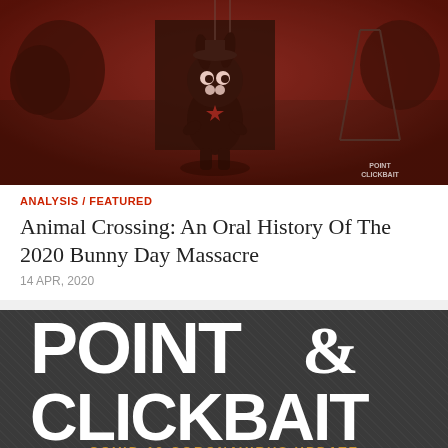[Figure (photo): Red-tinted dark photo of an Animal Crossing bunny character (Zipper T. Bunny) standing in a dark outdoor scene with trees and a tripod in the background. Point & Clickbait watermark in the bottom right.]
ANALYSIS / FEATURED
Animal Crossing: An Oral History Of The 2020 Bunny Day Massacre
14 APR, 2020
[Figure (logo): Point & Clickbait logo on dark grey textured background. Large white bold text reads POINT & CLICKBAIT in two lines. Below in orange/gold text: COVID-19 CORONAVIRUS UPDATE]